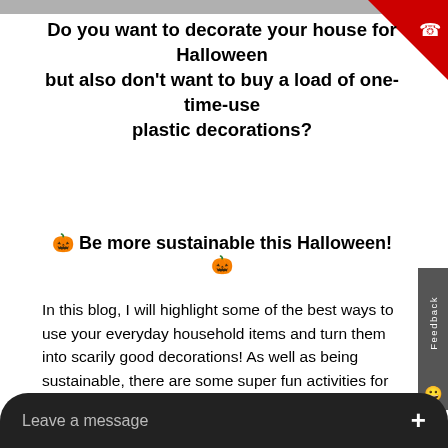Do you want to decorate your house for Halloween but also don’t want to buy a load of one-time-use plastic decorations?
🎃 Be more sustainable this Halloween! 🎃
In this blog, I will highlight some of the best ways to use your everyday household items and turn them into scarily good decorations! As well as being sustainable, there are some super fun activities for you and your family or friends to take part in!
Bottles Of Poison 💀
The fir... your leftover bottles from w... them spooky before